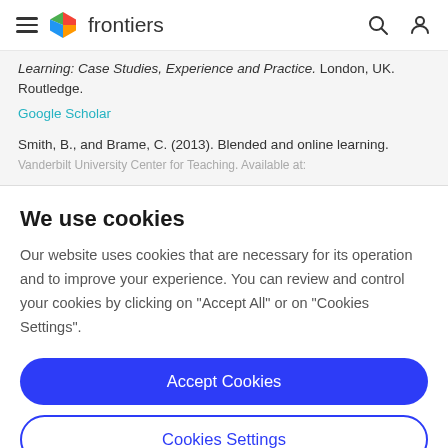frontiers
Learning: Case Studies, Experience and Practice. London, UK. Routledge.
Google Scholar
Smith, B., and Brame, C. (2013). Blended and online learning. Vanderbilt University Center for Teaching. Available at:
We use cookies
Our website uses cookies that are necessary for its operation and to improve your experience. You can review and control your cookies by clicking on "Accept All" or on "Cookies Settings".
Accept Cookies
Cookies Settings